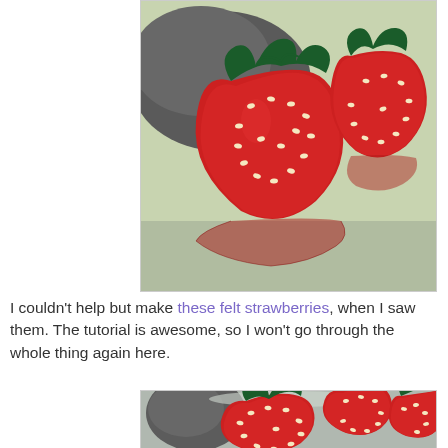[Figure (photo): Close-up photo of handmade felt strawberries — large red strawberry in foreground with green felt leaves/calyx and cream-colored seed dots, dark gray felt object behind, another red strawberry to the right, reflected on a shiny surface]
I couldn't help but make these felt strawberries, when I saw them.  The tutorial is awesome, so I won't go through the whole thing again here.
[Figure (photo): Close-up photo of multiple handmade felt strawberries — large red strawberry in foreground with green calyx and white seed dots, dark gray felt object to left, two more red strawberries behind, in a glass bowl]